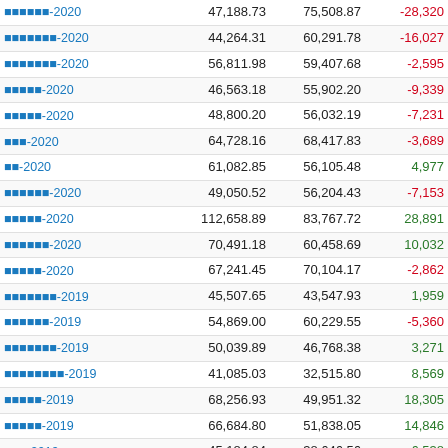|  |  |  |  |
| --- | --- | --- | --- |
| ▓▓▓▓▓▓-2020 | 47,188.73 | 75,508.87 | -28,320 |
| ▓▓▓▓▓▓▓-2020 | 44,264.31 | 60,291.78 | -16,027 |
| ▓▓▓▓▓▓▓-2020 | 56,811.98 | 59,407.68 | -2,595 |
| ▓▓▓▓▓-2020 | 46,563.18 | 55,902.20 | -9,339 |
| ▓▓▓▓▓-2020 | 48,800.20 | 56,032.19 | -7,231 |
| ▓▓▓-2020 | 64,728.16 | 68,417.83 | -3,689 |
| ▓▓-2020 | 61,082.85 | 56,105.48 | 4,977 |
| ▓▓▓▓▓▓-2020 | 49,050.52 | 56,204.43 | -7,153 |
| ▓▓▓▓▓-2020 | 112,658.89 | 83,767.72 | 28,891 |
| ▓▓▓▓▓▓-2020 | 70,491.18 | 60,458.69 | 10,032 |
| ▓▓▓▓▓-2020 | 67,241.45 | 70,104.17 | -2,862 |
| ▓▓▓▓▓▓▓-2019 | 45,507.65 | 43,547.93 | 1,959 |
| ▓▓▓▓▓▓-2019 | 54,869.00 | 60,229.55 | -5,360 |
| ▓▓▓▓▓▓▓-2019 | 50,039.89 | 46,768.38 | 3,271 |
| ▓▓▓▓▓▓▓▓-2019 | 41,085.03 | 32,515.80 | 8,569 |
| ▓▓▓▓▓-2019 | 68,256.93 | 49,951.32 | 18,305 |
| ▓▓▓▓▓-2019 | 66,684.80 | 51,838.05 | 14,846 |
| ▓▓▓-2019 | 45,184.84 | 38,646.56 | 6,538 |
| ▓▓-2019 | 50,627.34 | 45,818.27 | 4,809 |
| ▓▓▓▓▓▓-2019 | 43,382.05 | 48,387.13 | -5,005 |
| ▓▓▓▓▓-2019 | 52,816.71 | 58,678.14 | -5,861 |
| ▓▓▓▓▓▓-2019 | 47,400.96 | 46,923.06 | 477 |
| ▓▓▓▓▓-2019 | 54,798.53 | 48,256.99 | 6,541 |
| ▓▓▓▓▓▓▓-2018 | 48,199.59 | 45,280.62 | 2,918 |